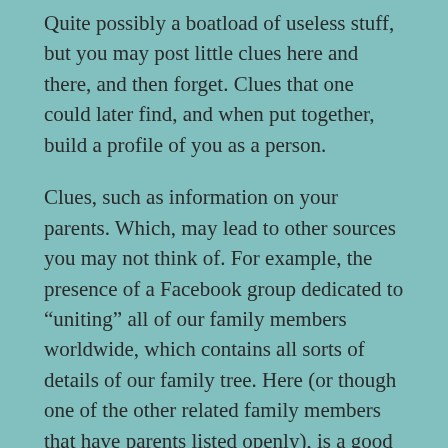Quite possibly a boatload of useless stuff, but you may post little clues here and there, and then forget. Clues that one could later find, and when put together, build a profile of you as a person.
Clues, such as information on your parents. Which, may lead to other sources you may not think of. For example, the presence of a Facebook group dedicated to “uniting” all of our family members worldwide, which contains all sorts of details of our family tree. Here (or though one of the other related family members that have parents listed openly), is a good bet to where the name of my grandpa could have been picked up.
So I then decided to plug my grandpa’s name into a google search. Something I (and others) would never